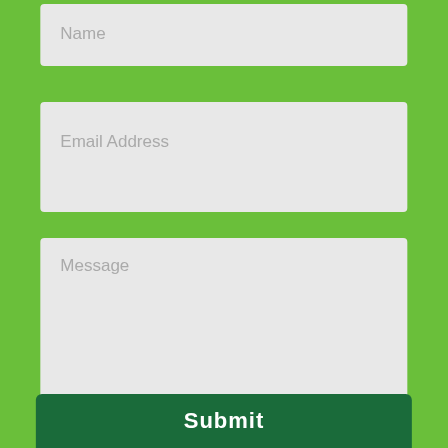[Figure (screenshot): Web contact form on green background showing Name input field (partially visible at top), Email Address input field, Message textarea, reCAPTCHA widget with 'I'm not a robot' checkbox and logo, and a dark green Submit button at the bottom.]